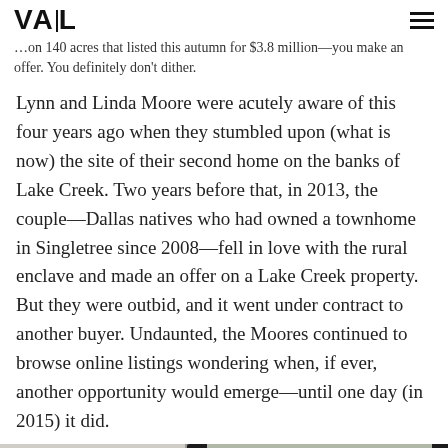VAIL
…on 140 acres that listed this autumn for $3.8 million—you make an offer. You definitely don't dither.
Lynn and Linda Moore were acutely aware of this four years ago when they stumbled upon (what is now) the site of their second home on the banks of Lake Creek. Two years before that, in 2013, the couple—Dallas natives who had owned a townhome in Singletree since 2008—fell in love with the rural enclave and made an offer on a Lake Creek property. But they were outbid, and it went under contract to another buyer. Undaunted, the Moores continued to browse online listings wondering when, if ever, another opportunity would emerge—until one day (in 2015) it did.
[Figure (photo): Interior photo showing a wooden slatted chair or bench with dark frame against a bright window background]